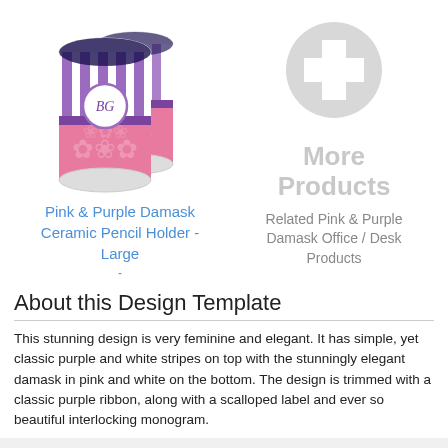[Figure (photo): Pink & Purple Damask Ceramic Pencil Holder - Large product photo showing two cylindrical ceramic containers with purple and white vertical stripes on top and pink damask pattern on bottom, with a monogram circle label]
Pink & Purple Damask Ceramic Pencil Holder - Large
[Figure (illustration): Gray circular plus/add icon for More Products]
More Products
Related Pink & Purple Damask Office / Desk Products
About this Design Template
This stunning design is very feminine and elegant. It has simple, yet classic purple and white stripes on top with the stunningly elegant damask in pink and white on the bottom. The design is trimmed with a classic purple ribbon, along with a scalloped label and ever so beautiful interlocking monogram.
As always with YouCustomizeIt, you can change anything